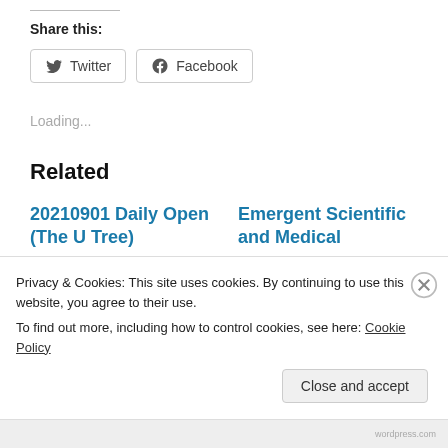Share this:
Twitter   Facebook
Loading...
Related
20210901 Daily Open (The U Tree)
Emergent Scientific and Medical
Privacy & Cookies: This site uses cookies. By continuing to use this website, you agree to their use.
To find out more, including how to control cookies, see here: Cookie Policy
Close and accept